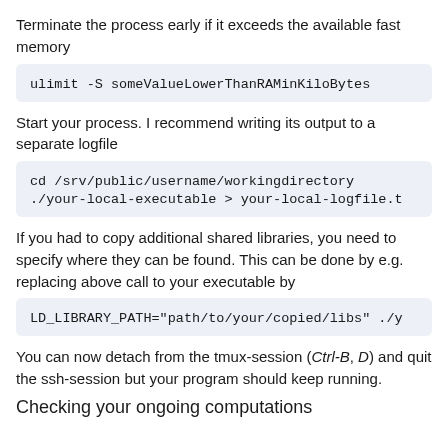Terminate the process early if it exceeds the available fast memory
ulimit -S someValueLowerThanRAMinKiloBytes
Start your process. I recommend writing its output to a separate logfile
cd /srv/public/username/workingdirectory
./your-local-executable > your-local-logfile.t
If you had to copy additional shared libraries, you need to specify where they can be found. This can be done by e.g. replacing above call to your executable by
LD_LIBRARY_PATH="path/to/your/copied/libs" ./y
You can now detach from the tmux-session (Ctrl-B, D) and quit the ssh-session but your program should keep running.
Checking your ongoing computations